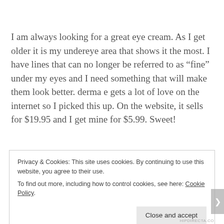I am always looking for a great eye cream. As I get older it is my undereye area that shows it the most. I have lines that can no longer be referred to as “fine” under my eyes and I need something that will make them look better. derma e gets a lot of love on the internet so I picked this up. On the website, it sells for $19.95 and I get mine for $5.99. Sweet!
Privacy & Cookies: This site uses cookies. By continuing to use this website, you agree to their use.
To find out more, including how to control cookies, see here: Cookie Policy
Close and accept